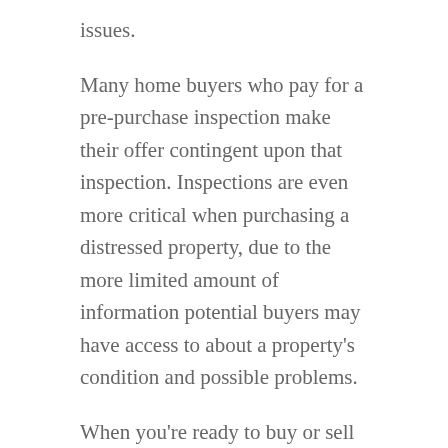issues.
Many home buyers who pay for a pre-purchase inspection make their offer contingent upon that inspection. Inspections are even more critical when purchasing a distressed property, due to the more limited amount of information potential buyers may have access to about a property's condition and possible problems.
When you're ready to buy or sell a home, give us a call at 1-605-388-2924 to learn more about the importance of home inspections.  Easily schedule online today. https://app.spectora.com/home-inspectors/copper-mountain-home-inspection-llc